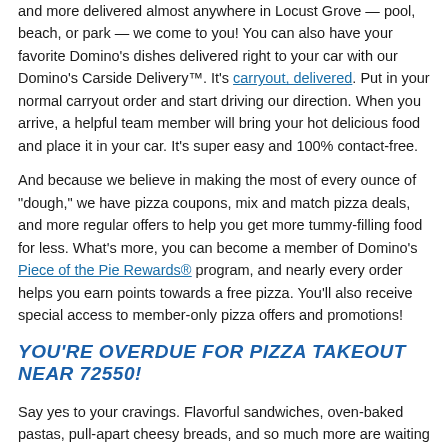and more delivered almost anywhere in Locust Grove — pool, beach, or park — we come to you! You can also have your favorite Domino's dishes delivered right to your car with our Domino's Carside Delivery™. It's carryout, delivered. Put in your normal carryout order and start driving our direction. When you arrive, a helpful team member will bring your hot delicious food and place it in your car. It's super easy and 100% contact-free.

And because we believe in making the most of every ounce of "dough," we have pizza coupons, mix and match pizza deals, and more regular offers to help you get more tummy-filling food for less. What's more, you can become a member of Domino's Piece of the Pie Rewards® program, and nearly every order helps you earn points towards a free pizza. You'll also receive special access to member-only pizza offers and promotions!
YOU'RE OVERDUE FOR PIZZA TAKEOUT NEAR 72550!
Say yes to your cravings. Flavorful sandwiches, oven-baked pastas, pull-apart cheesy breads, and so much more are waiting for you and your crew. Order online, call your closest Domino's